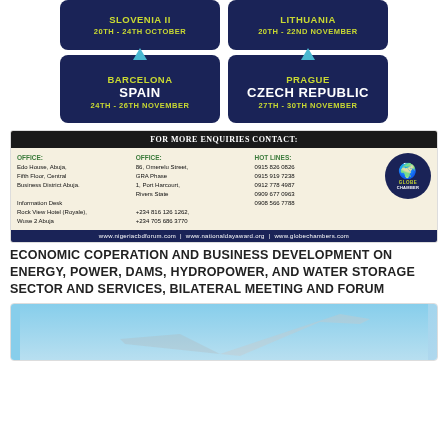[Figure (infographic): Dark navy blue event badge for Barcelona Spain, 24th-26th November]
[Figure (infographic): Dark navy blue event badge for Prague Czech Republic, 27th-30th November]
[Figure (infographic): Contact information panel for Globe Chamber with office addresses, hotlines, and websites]
ECONOMIC COPERATION AND BUSINESS DEVELOPMENT ON ENERGY, POWER, DAMS, HYDROPOWER, AND WATER STORAGE SECTOR AND SERVICES, BILATERAL MEETING AND FORUM
[Figure (photo): Partial view of an airplane against a blue sky background]